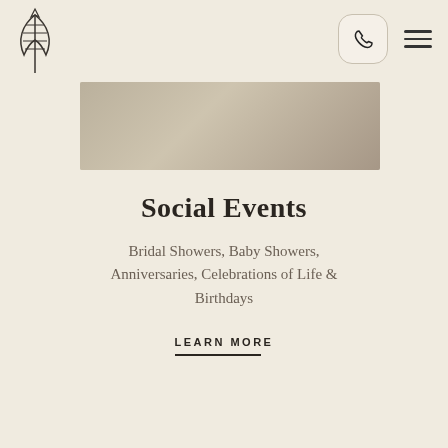[Figure (logo): Decorative feather/leaf botanical logo mark in outline style]
[Figure (photo): Hero image showing an event venue interior, muted warm tones]
Social Events
Bridal Showers, Baby Showers, Anniversaries, Celebrations of Life & Birthdays
LEARN MORE